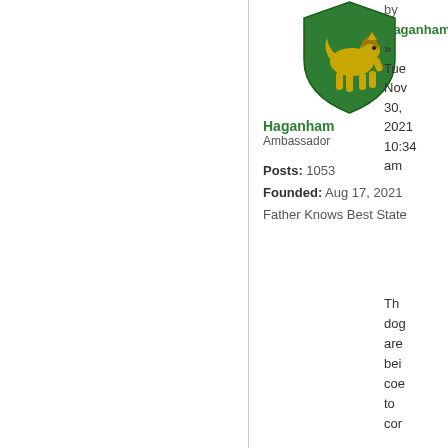[Figure (illustration): Green and gold heraldic shield with a lion/horse figure, serving as a user avatar for Haganham]
Haganham
Ambassador
Posts: 1053
Founded: Aug 17, 2021
Father Knows Best State
by
Haganham
»
Tue Nov 30, 2021 10:34 am
Th... dog... are... bei... coe... to... cor...